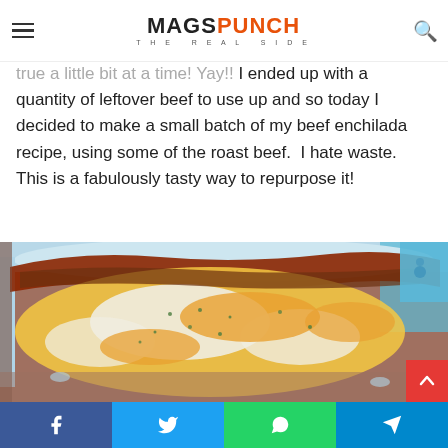MAGSPUNCH THE REAL SIDE
le hel, I have Sean the number of teenagers to cook with my enchiladas. All my dreams are now coming true a little bit at a time! Yay!! I ended up with a quantity of leftover beef to use up and so today I decided to make a small batch of my beef enchilada recipe, using some of the roast beef.  I hate waste.  This is a fabulously tasty way to repurpose it!
[Figure (photo): Close-up photo of beef enchiladas in a blue and white floral baking dish, topped with melted orange and white cheese and chopped herbs, with red enchilada sauce around the edges.]
Facebook | Twitter | WhatsApp | Telegram share buttons